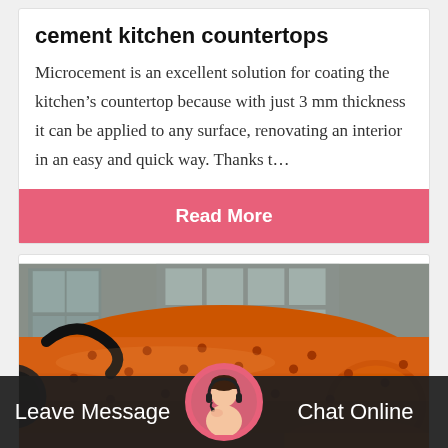cement kitchen countertops
Microcement is an excellent solution for coating the kitchen's countertop because with just 3 mm thickness it can be applied to any surface, renovating an interior in an easy and quick way. Thanks t…
[Figure (other): Pink/salmon colored button with white bold text 'Read More']
[Figure (photo): Industrial orange ball mill machinery photographed outdoors with buildings in background]
Leave Message   Chat Online